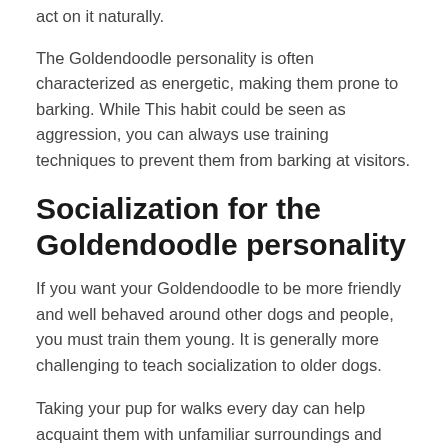act on it naturally.
The Goldendoodle personality is often characterized as energetic, making them prone to barking. While This habit could be seen as aggression, you can always use training techniques to prevent them from barking at visitors.
Socialization for the Goldendoodle personality
If you want your Goldendoodle to be more friendly and well behaved around other dogs and people, you must train them young. It is generally more challenging to teach socialization to older dogs.
Taking your pup for walks every day can help acquaint them with unfamiliar surroundings and people. Professional-raised Goldendoodles are more friendly, especially ones who have lived with littermates in their